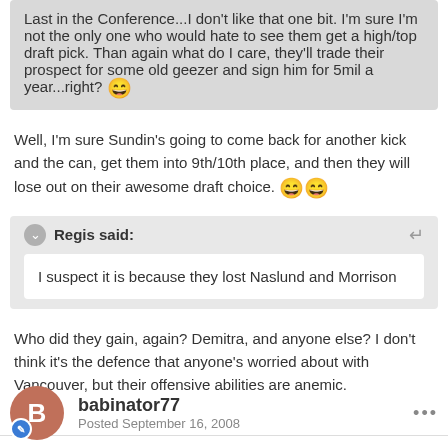Last in the Conference...I don't like that one bit. I'm sure I'm not the only one who would hate to see them get a high/top draft pick. Than again what do I care, they'll trade their prospect for some old geezer and sign him for 5mil a year...right? 😄
Well, I'm sure Sundin's going to come back for another kick and the can, get them into 9th/10th place, and then they will lose out on their awesome draft choice. 😄😄
Regis said:
I suspect it is because they lost Naslund and Morrison
Who did they gain, again? Demitra, and anyone else? I don't think it's the defence that anyone's worried about with Vancouver, but their offensive abilities are anemic.
babinator77
Posted September 16, 2008